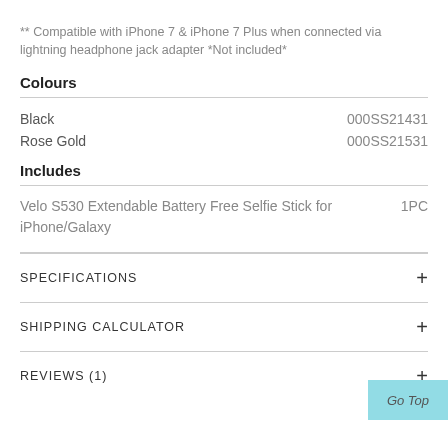** Compatible with iPhone 7 & iPhone 7 Plus when connected via lightning headphone jack adapter *Not included*
Colours
| Colour | SKU |
| --- | --- |
| Black | 000SS21431 |
| Rose Gold | 000SS21531 |
Includes
Velo S530 Extendable Battery Free Selfie Stick for iPhone/Galaxy 1PC
SPECIFICATIONS
SHIPPING CALCULATOR
REVIEWS (1)